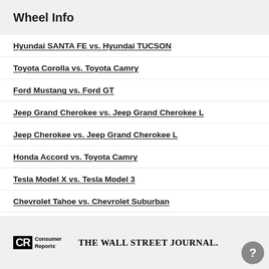Wheel Info
Hyundai SANTA FE vs. Hyundai TUCSON
Toyota Corolla vs. Toyota Camry
Ford Mustang vs. Ford GT
Jeep Grand Cherokee vs. Jeep Grand Cherokee L
Jeep Cherokee vs. Jeep Grand Cherokee L
Honda Accord vs. Toyota Camry
Tesla Model X vs. Tesla Model 3
Chevrolet Tahoe vs. Chevrolet Suburban
Toyota Corolla vs. Toyota Corolla Cross
Consumer Reports | THE WALL STREET JOURNAL